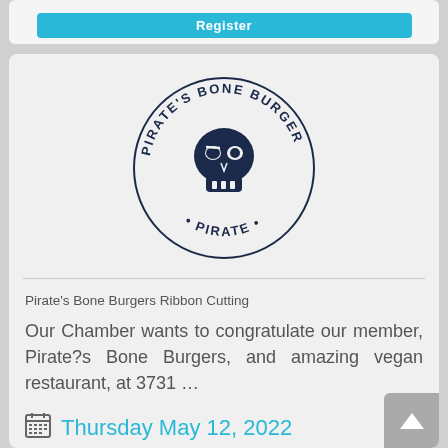[Figure (logo): Pirate's Bone Burger circular logo with skull wearing an eye patch in dark navy blue, surrounded by text 'PIRATE'S BONE BURGER' arranged in a circle]
Pirate's Bone Burgers Ribbon Cutting
Our Chamber wants to congratulate our member, Pirate?s Bone Burgers, and amazing vegan restaurant, at 3731 …
Thursday May 12, 2022